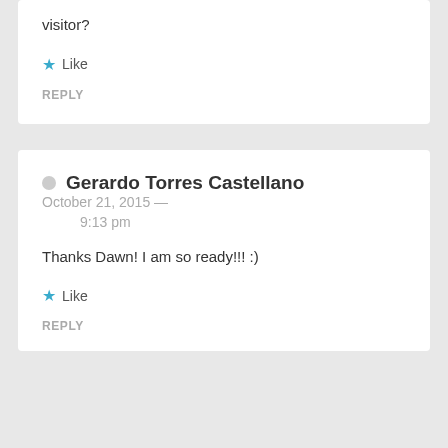visitor?
Like
REPLY
Gerardo Torres Castellano  October 21, 2015 — 9:13 pm
Thanks Dawn! I am so ready!!! :)
Like
REPLY